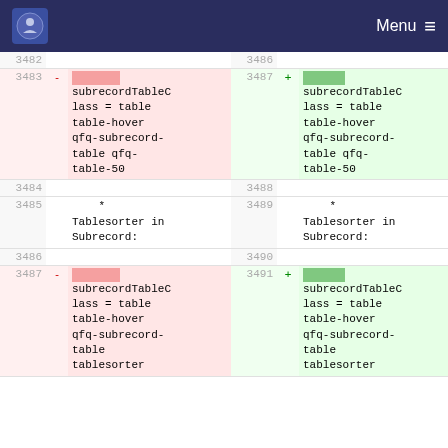Menu
| line-left | marker-left | content-left | line-right | marker-right | content-right |
| --- | --- | --- | --- | --- | --- |
| 3482 |  |  | 3486 |  |  |
| 3483 | - | [highlighted] subrecordTableClass = table table-hover qfq-subrecord-table qfq-table-50 | 3487 | + | [highlighted] subrecordTableClass = table table-hover qfq-subrecord-table qfq-table-50 |
| 3484 |  |  | 3488 |  |  |
| 3485 |  | * Tablesorter in Subrecord: | 3489 |  | * Tablesorter in Subrecord: |
| 3486 |  |  | 3490 |  |  |
| 3487 | - | [highlighted] subrecordTableClass = table table-hover qfq-subrecord-table tablesorter tablesorter... | 3491 | + | [highlighted] subrecordTableClass = table table-hover qfq-subrecord-table tablesorter tablesorter... |